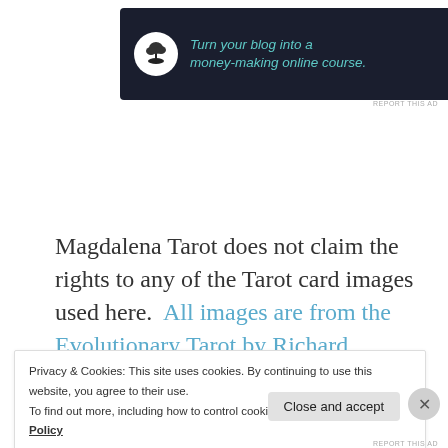[Figure (other): Advertisement banner with dark navy background. Left side has a circular white icon with a bonsai tree. Text reads 'Turn your blog into a money-making online course.' in teal italic font. Right side has a white right-arrow.]
REPORT THIS AD
Magdalena Tarot does not claim the rights to any of the Tarot card images used here.  All images are from the Evolutionary Tarot by Richard Hartnett, H.W., M.
Privacy & Cookies: This site uses cookies. By continuing to use this website, you agree to their use.
To find out more, including how to control cookies, see here: Cookie Policy
Close and accept